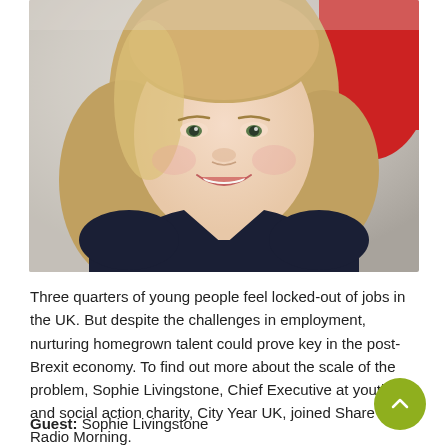[Figure (photo): Portrait photo of a blonde woman smiling, wearing a dark navy top, with a red chair visible in the background. The photo is cropped to show her head, shoulders and upper torso.]
Three quarters of young people feel locked-out of jobs in the UK. But despite the challenges in employment, nurturing homegrown talent could prove key in the post-Brexit economy. To find out more about the scale of the problem, Sophie Livingstone, Chief Executive at youth and social action charity, City Year UK, joined Share Radio Morning.
Guest: Sophie Livingstone